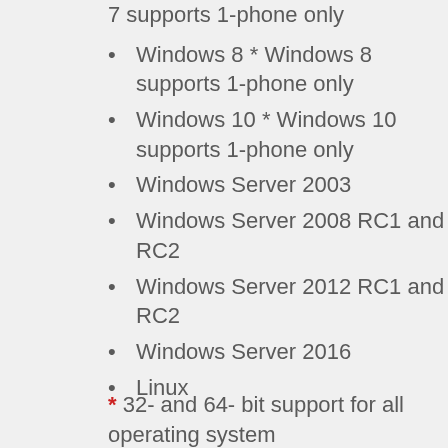7 supports 1-phone only
Windows 8 * Windows 8 supports 1-phone only
Windows 10 * Windows 10 supports 1-phone only
Windows Server 2003
Windows Server 2008 RC1 and RC2
Windows Server 2012 RC1 and RC2
Windows Server 2016
Linux
* 32- and 64- bit support for all operating system